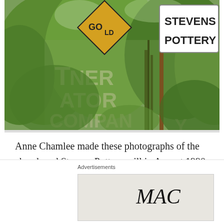[Figure (photo): Outdoor photograph showing overgrown vegetation with old signage including 'STEVENS POTTERY' white sign and a diamond-shaped 'GOLD' sign, plus faded lettering on a building in the background reading partial text including 'NER', 'ATOR', 'COMPANY']
Anne Chamlee made these photographs of the abandoned Stevens Pottery mill in August 1990. The rural community was named for the industry that was the largest employer in
[Figure (photo): MAC Cosmetics advertisement banner showing colorful lipsticks on the left, MAC logo script in center, and a 'SHOP NOW' box on the right with a red lipstick]